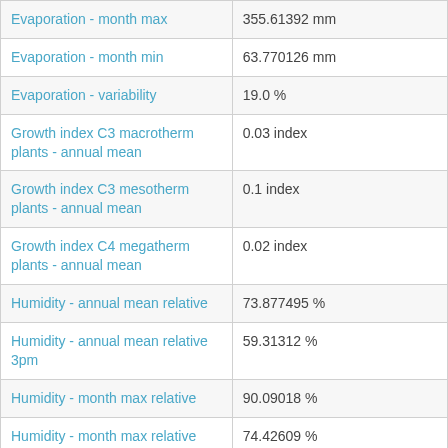| Parameter | Value |
| --- | --- |
| Evaporation - month max | 355.61392 mm |
| Evaporation - month min | 63.770126 mm |
| Evaporation - variability | 19.0 % |
| Growth index C3 macrotherm plants - annual mean | 0.03 index |
| Growth index C3 mesotherm plants - annual mean | 0.1 index |
| Growth index C4 megatherm plants - annual mean | 0.02 index |
| Humidity - annual mean relative | 73.877495 % |
| Humidity - annual mean relative 3pm | 59.31312 % |
| Humidity - month max relative | 90.09018 % |
| Humidity - month max relative 3pm | 74.42609 % |
| Humidity - month min relative | 45.95688 % |
| Humidity - month min relative | 45.95688 % |